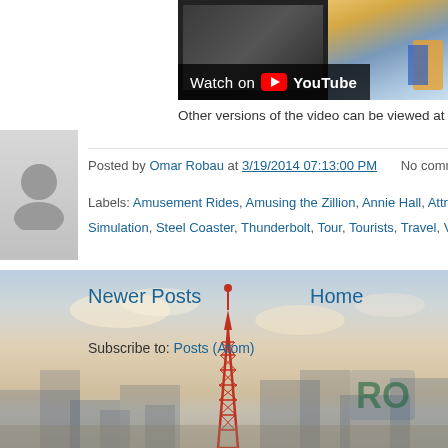[Figure (screenshot): YouTube video thumbnail with 'Watch on YouTube' bar overlay, showing a playground/amusement park scene]
Other versions of the video can be viewed at Luna Pa
Posted by Omar Robau at 3/19/2014 07:13:00 PM    No comments:
Labels: Amusement Rides, Amusing the Zillion, Annie Hall, Attractions, Br... Simulation, Steel Coaster, Thunderbolt, Tour, Tourists, Travel, Vertical Drop
Newer Posts
Home
Subscribe to: Posts (Atom)
[Figure (photo): Background photo of a Coney Island/amusement park skyline with a red lattice tower, buildings, and a cloudy sunset sky]